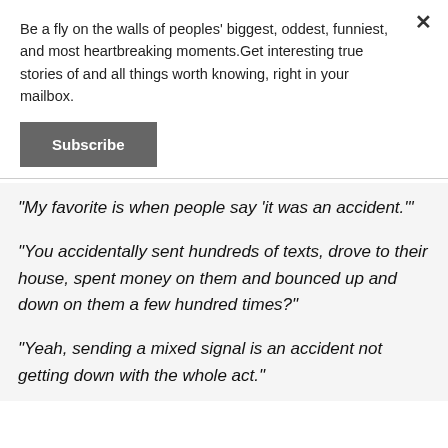Be a fly on the walls of peoples' biggest, oddest, funniest, and most heartbreaking moments.Get interesting true stories of and all things worth knowing, right in your mailbox.
Subscribe
"My favorite is when people say 'it was an accident.'"
"You accidentally sent hundreds of texts, drove to their house, spent money on them and bounced up and down on them a few hundred times?"
"Yeah, sending a mixed signal is an accident not getting down with the whole act."